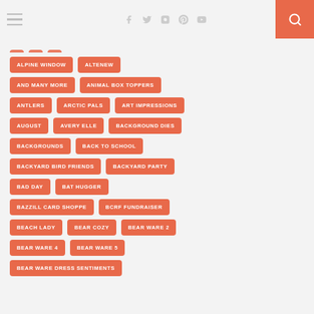Navigation bar with hamburger menu, social icons (Facebook, Twitter, Instagram, Pinterest, YouTube), and search button
ALPINE WINDOW
ALTENEW
AND MANY MORE
ANIMAL BOX TOPPERS
ANTLERS
ARCTIC PALS
ART IMPRESSIONS
AUGUST
AVERY ELLE
BACKGROUND DIES
BACKGROUNDS
BACK TO SCHOOL
BACKYARD BIRD FRIENDS
BACKYARD PARTY
BAD DAY
BAT HUGGER
BAZZILL CARD SHOPPE
BCRF FUNDRAISER
BEACH LADY
BEAR COZY
BEAR WARE 2
BEAR WARE 4
BEAR WARE 5
BEAR WARE DRESS SENTIMENTS